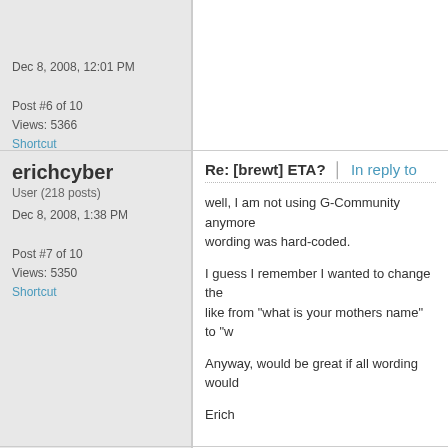Dec 8, 2008, 12:01 PM
Post #6 of 10
Views: 5366
Shortcut
erichcyber
User (218 posts)
Dec 8, 2008, 1:38 PM
Post #7 of 10
Views: 5350
Shortcut
Re: [brewt] ETA? | In reply to
well, I am not using G-Community anymore wording was hard-coded.
I guess I remember I wanted to change the like from "what is your mothers name" to "w
Anyway, would be great if all wording would
Erich
brewt
Staff (4101 posts)
Re: [erichcyber] ETA? | In reply to
Taking a look at the configuration's file histo